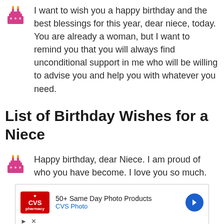I want to wish you a happy birthday and the best blessings for this year, dear niece, today. You are already a woman, but I want to remind you that you will always find unconditional support in me who will be willing to advise you and help you with whatever you need.
List of Birthday Wishes for a Niece
Happy birthday, dear Niece. I am proud of who you have become. I love you so much.
[Figure (other): CVS Photo advertisement banner showing logo and text '50+ Same Day Photo Products, CVS Photo' with a blue direction arrow icon and play/close controls]